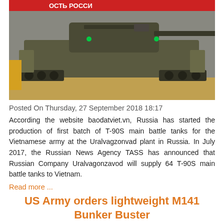[Figure (photo): Photo of a T-90S main battle tank, military olive/green colored, displayed at what appears to be an exhibition. Russian text visible on banner in background.]
Posted On Thursday, 27 September 2018 18:17
According the website baodatviet.vn, Russia has started the production of first batch of T-90S main battle tanks for the Vietnamese army at the Uralvagzonvad plant in Russia. In July 2017, the Russian News Agency TASS has announced that Russian Company Uralvagonzavod will supply 64 T-90S main battle tanks to Vietnam.
Read more ...
US Army orders lightweight M141 Bunker Buster
[Figure (photo): Partial photo at bottom of page, dark background with what appears to be a military scene, with a small overlay image in the top right corner.]